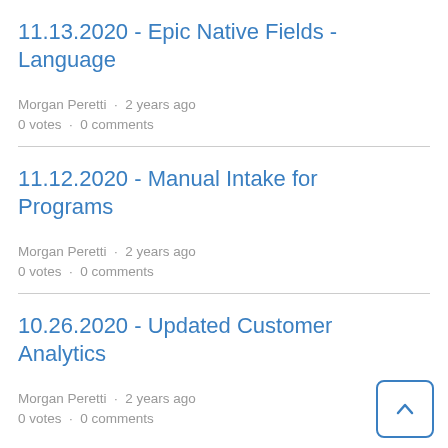11.13.2020 - Epic Native Fields - Language
Morgan Peretti · 2 years ago
0 votes · 0 comments
11.12.2020 - Manual Intake for Programs
Morgan Peretti · 2 years ago
0 votes · 0 comments
10.26.2020 - Updated Customer Analytics
Morgan Peretti · 2 years ago
0 votes · 0 comments
[Figure (other): Scroll-to-top button with upward chevron arrow, blue border, white background]